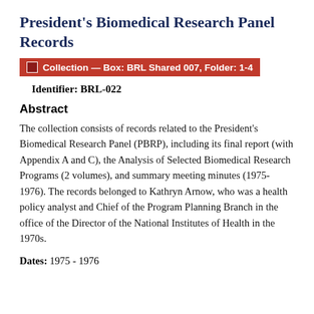President's Biomedical Research Panel Records
Collection — Box: BRL Shared 007, Folder: 1-4
Identifier: BRL-022
Abstract
The collection consists of records related to the President's Biomedical Research Panel (PBRP), including its final report (with Appendix A and C), the Analysis of Selected Biomedical Research Programs (2 volumes), and summary meeting minutes (1975-1976). The records belonged to Kathryn Arnow, who was a health policy analyst and Chief of the Program Planning Branch in the office of the Director of the National Institutes of Health in the 1970s.
Dates: 1975 - 1976